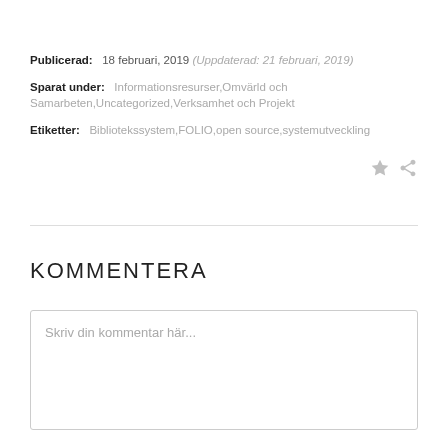Publicerad: 18 februari, 2019 (Uppdaterad: 21 februari, 2019)
Sparat under: Informationsresurser,Omvärld och Samarbeten,Uncategorized,Verksamhet och Projekt
Etiketter: Bibliotekssystem,FOLIO,open source,systemutveckling
KOMMENTERA
Skriv din kommentar här...